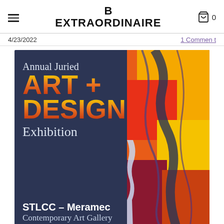B EXTRAORDINAIRE
4/23/2022
1 Comment
[Figure (illustration): Promotional poster for Annual Juried Art + Design Exhibition at STLCC – Meramec Contemporary Art Gallery. Dark navy background with colorful abstract art on the right side featuring red, yellow, orange, and purple strokes. Text reads: Annual Juried ART + DESIGN Exhibition. STLCC – Meramec Contemporary Art Gallery.]